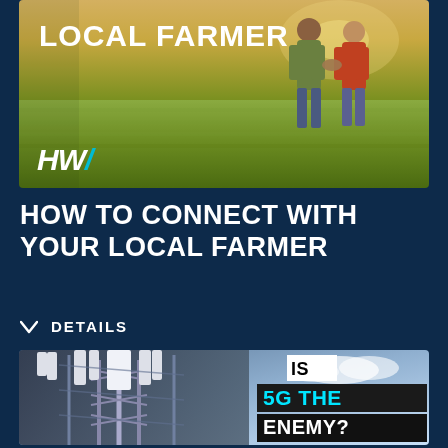[Figure (photo): Photo of two people shaking hands in a green farm field with HW logo and text LOCAL FARMER overlaid]
HOW TO CONNECT WITH YOUR LOCAL FARMER
DETAILS
[Figure (photo): Photo of 5G cell tower infrastructure with text overlay reading IS 5G THE ENEMY?]